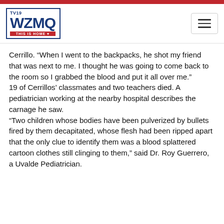[Figure (logo): TV19 WZMQ 'THIS IS HOME' television station logo in blue with red accent bar, with hamburger menu button on the right]
Cerrillo. “When I went to the backpacks, he shot my friend that was next to me. I thought he was going to come back to the room so I grabbed the blood and put it all over me.”
19 of Cerrillos’ classmates and two teachers died. A pediatrician working at the nearby hospital describes the carnage he saw.
“Two children whose bodies have been pulverized by bullets fired by them decapitated, whose flesh had been ripped apart that the only clue to identify them was a blood splattered cartoon clothes still clinging to them,” said Dr. Roy Guerrero, a Uvalde Pediatrician.